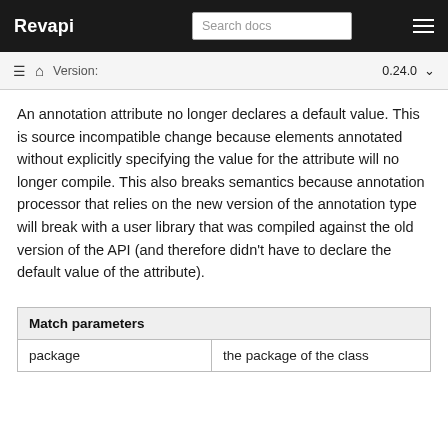Revapi | Search docs
An annotation attribute no longer declares a default value. This is source incompatible change because elements annotated without explicitly specifying the value for the attribute will no longer compile. This also breaks semantics because annotation processor that relies on the new version of the annotation type will break with a user library that was compiled against the old version of the API (and therefore didn't have to declare the default value of the attribute).
| Match parameters |  |
| --- | --- |
| package | the package of the class |